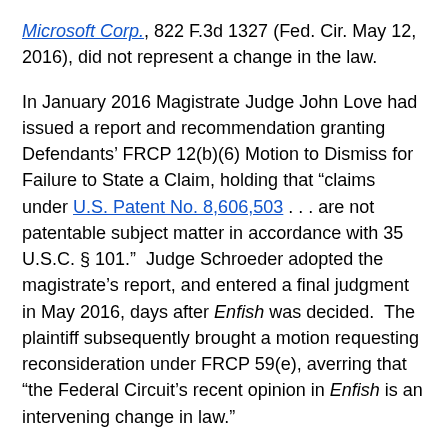Microsoft Corp., 822 F.3d 1327 (Fed. Cir. May 12, 2016), did not represent a change in the law.
In January 2016 Magistrate Judge John Love had issued a report and recommendation granting Defendants' FRCP 12(b)(6) Motion to Dismiss for Failure to State a Claim, holding that “claims under U.S. Patent No. 8,606,503 . . . are not patentable subject matter in accordance with 35 U.S.C. § 101.”  Judge Schroeder adopted the magistrate’s report, and entered a final judgment in May 2016, days after Enfish was decided.  The plaintiff subsequently brought a motion requesting reconsideration under FRCP 59(e), averring that “the Federal Circuit’s recent opinion in Enfish is an intervening change in law.”
Not so, said Judge Schroeder.  Quoting from the Supreme Court’s decision in Alice, Judge Schroeder...